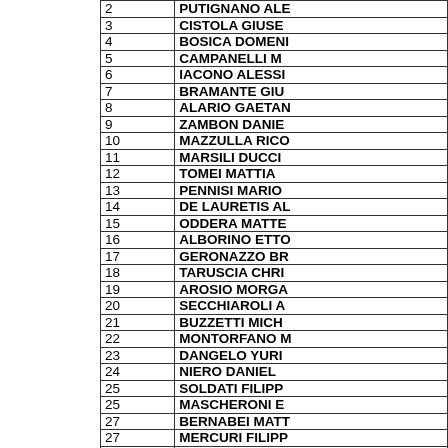| # | Name |
| --- | --- |
| 2 | PUTIGNANO ALE |
| 3 | CISTOLA GIUSE |
| 4 | BOSICA DOMENI |
| 5 | CAMPANELLI M |
| 6 | IACONO ALESSI |
| 7 | BRAMANTE GIU |
| 8 | ALARIO GAETAN |
| 9 | ZAMBON DANIE |
| 10 | MAZZULLA RICO |
| 11 | MARSILI DUCCI |
| 12 | TOMEI MATTIA |
| 13 | PENNISI MARIO |
| 14 | DE LAURETIS AL |
| 15 | ODDERA MATTE |
| 16 | ALBORINO ETTO |
| 17 | GERONAZZO BR |
| 18 | TARUSCIA CHRI |
| 19 | AROSIO MORGA |
| 20 | SECCHIAROLI A |
| 21 | BUZZETTI MICH |
| 22 | MONTORFANO M |
| 23 | DANGELO YURI |
| 24 | NIERO DANIEL |
| 25 | SOLDATI FILIPP |
| 25 | MASCHERONI E |
| 27 | BERNABEI MATT |
| 27 | MERCURI FILIPP |
| 29 | PENZO CHRISTI |
| 29 | DACY FILIPPO |
| 31 | DE ZANI MATTE |